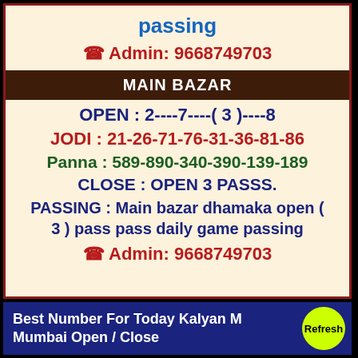passing
☎ Admin: 9668749703
MAIN BAZAR
OPEN : 2----7----( 3 )----8
JODI : 21-26-71-76-31-36-81-86
Panna : 589-890-340-390-139-189
CLOSE : OPEN 3 PASSS.
PASSING : Main bazar dhamaka open ( 3 ) pass pass daily game passing
☎ Admin: 9668749703
Best Number For Today Kalyan Mumbai Open / Close